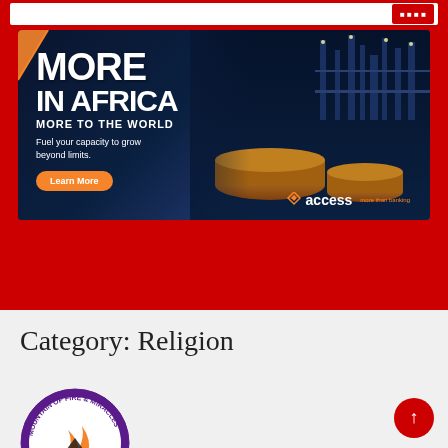[Figure (infographic): Access Bank advertisement banner: dark navy background with industrial refinery at night, orange storage tanks. Text reads MORE IN AFRICA / MORE TO THE WORLD / Fuel your capacity to grow beyond limits. / Learn More button. Access bank logo bottom right.]
Category: Religion
[Figure (logo): Mountain of Fire & Miracles circular logo with flame imagery, purple and orange colors]